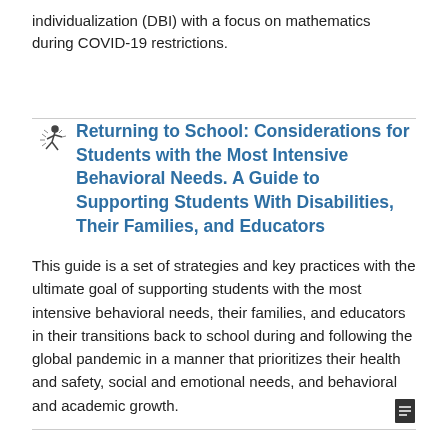individualization (DBI) with a focus on mathematics during COVID-19 restrictions.
Returning to School: Considerations for Students with the Most Intensive Behavioral Needs. A Guide to Supporting Students With Disabilities, Their Families, and Educators
This guide is a set of strategies and key practices with the ultimate goal of supporting students with the most intensive behavioral needs, their families, and educators in their transitions back to school during and following the global pandemic in a manner that prioritizes their health and safety, social and emotional needs, and behavioral and academic growth.